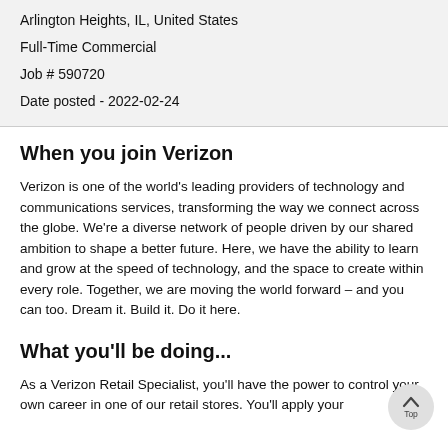Arlington Heights, IL, United States
Full-Time Commercial
Job # 590720
Date posted - 2022-02-24
When you join Verizon
Verizon is one of the world's leading providers of technology and communications services, transforming the way we connect across the globe. We're a diverse network of people driven by our shared ambition to shape a better future. Here, we have the ability to learn and grow at the speed of technology, and the space to create within every role. Together, we are moving the world forward – and you can too. Dream it. Build it. Do it here.
What you'll be doing...
As a Verizon Retail Specialist, you'll have the power to control your own career in one of our retail stores. You'll apply your